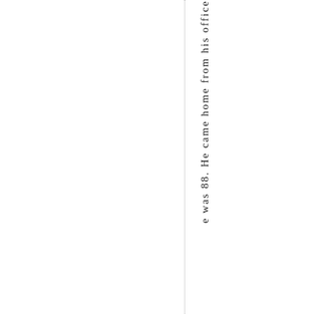e was 88. He came home from his office